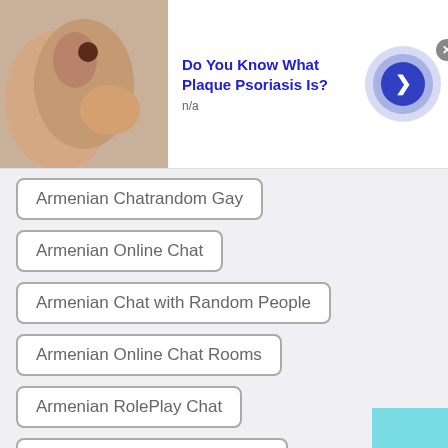[Figure (screenshot): Top ad banner: skin/psoriasis image with bold blue title 'Do You Know What Plaque Psoriasis Is?' and n/a subtext, with animated arrow button and close X]
Armenian Chatrandom Gay
Armenian Online Chat
Armenian Chat with Random People
Armenian Online Chat Rooms
Armenian RolePlay Chat
Armenian Random Chat Room
Armenian Chat for Free
[Figure (screenshot): Bottom ad banner: skin/psoriasis image with bold blue title 'Do You Know What Plaque Psoriasis Is?' and n/a subtext, with arrow button and X close]